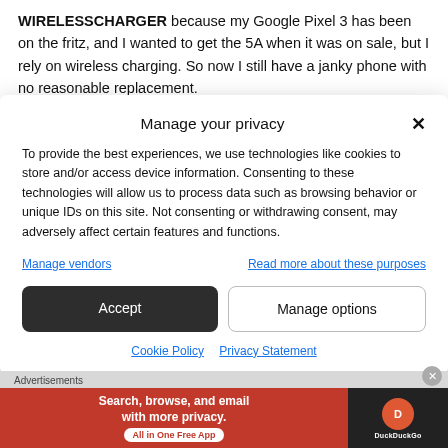WIRELESSCHARGER because my Google Pixel 3 has been on the fritz, and I wanted to get the 5A when it was on sale, but I rely on wireless charging. So now I still have a janky phone with no reasonable replacement.
Manage your privacy
To provide the best experiences, we use technologies like cookies to store and/or access device information. Consenting to these technologies will allow us to process data such as browsing behavior or unique IDs on this site. Not consenting or withdrawing consent, may adversely affect certain features and functions.
Manage vendors | Read more about these purposes
Accept | Manage options
Cookie Policy  Privacy Statement
Advertisements
[Figure (screenshot): DuckDuckGo advertisement banner: 'Search, browse, and email with more privacy. All in One Free App' on orange background with DuckDuckGo logo on dark background]